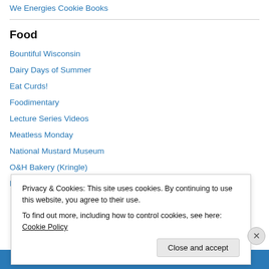We Energies Cookie Books
Food
Bountiful Wisconsin
Dairy Days of Summer
Eat Curds!
Foodimentary
Lecture Series Videos
Meatless Monday
National Mustard Museum
O&H Bakery (Kringle)
Relish Magazine
Privacy & Cookies: This site uses cookies. By continuing to use this website, you agree to their use.
To find out more, including how to control cookies, see here: Cookie Policy
Close and accept